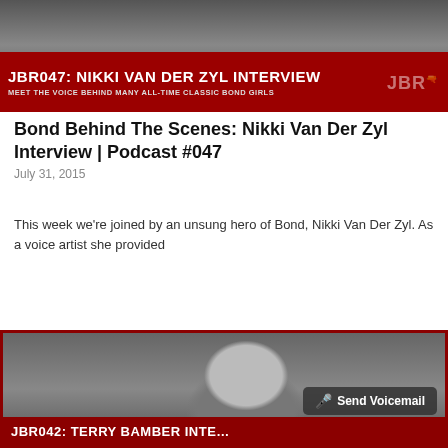[Figure (photo): Banner image for podcast JBR047 featuring Nikki Van Der Zyl, with red overlay bar showing title text and JBR logo]
Bond Behind The Scenes: Nikki Van Der Zyl Interview | Podcast #047
July 31, 2015
This week we're joined by an unsung hero of Bond, Nikki Van Der Zyl. As a voice artist she provided
More »
[Figure (photo): Banner image for JBR042 Terry Bamber Interview, black and white photo of a bald smiling man in front of a castle or mosque, with red bottom bar showing partial title and a Send Voicemail button overlay]